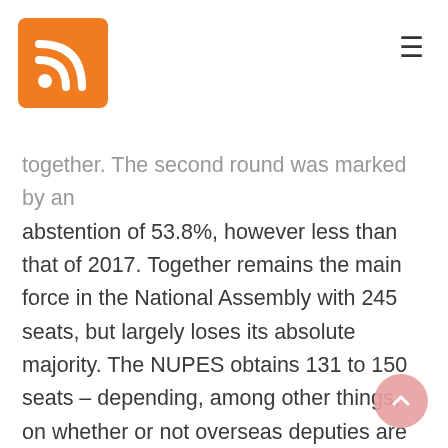[RSS icon and hamburger menu]
together. The second round was marked by an abstention of 53.8%, however less than that of 2017. Together remains the main force in the National Assembly with 245 seats, but largely loses its absolute majority. The NUPES obtains 131 to 150 seats – depending, among other things, on whether or not overseas deputies are counted – doubling the representation of left-wing parties compared to 2017, in particular due to the results obtained in the metropolises. The surprise comes from the RN which, despite a voting system historically unfavorable to the far right, made an electoral breakthrough with 89 deputies, an